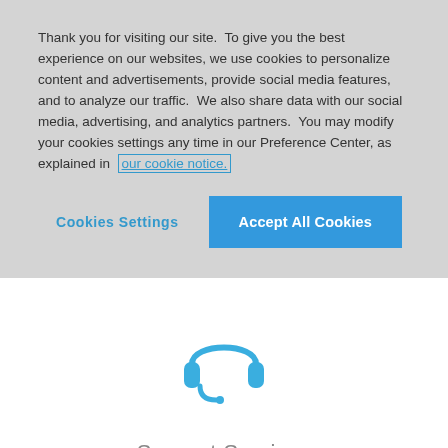Thank you for visiting our site.  To give you the best experience on our websites, we use cookies to personalize content and advertisements, provide social media features, and to analyze our traffic.  We also share data with our social media, advertising, and analytics partners.  You may modify your cookies settings any time in our Preference Center, as explained in our cookie notice.
Cookies Settings
Accept All Cookies
[Figure (illustration): Blue headset/headphones with microphone icon representing support services]
Support Services